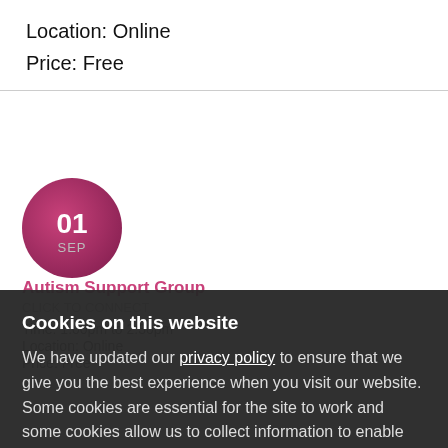Location: Online
Price: Free
01
SEP
Autism Support Group
Time: 1:00pm to 2:30pm
Location: Online
Price: Free
Cookies on this website
We have updated our privacy policy to ensure that we give you the best experience when you visit our website. Some cookies are essential for the site to work and some cookies allow us to collect information to enable site improvement. You can view and disable the cookies we use by selecting "Show details" or you can agree to proceed using our recommended settings by pressing "OK"
OK
Settings